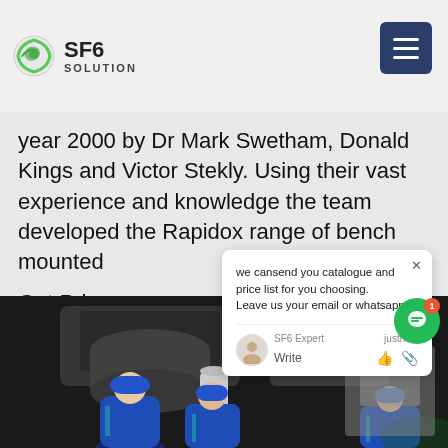SF6 SOLUTION
year 2000 by Dr Mark Swetham, Donald Kings and Victor Stekly. Using their vast experience and knowledge the team developed the Rapidox range of bench mounted
Get Price
we cansend you catalogue and price list for you choosing.
Leave us your email or whatsapp.
SF6 Expert    justnow
Write
[Figure (photo): Workers in blue coveralls and blue hard hats working on industrial SF6 gas handling equipment at night, with large grey machinery visible in the background.]